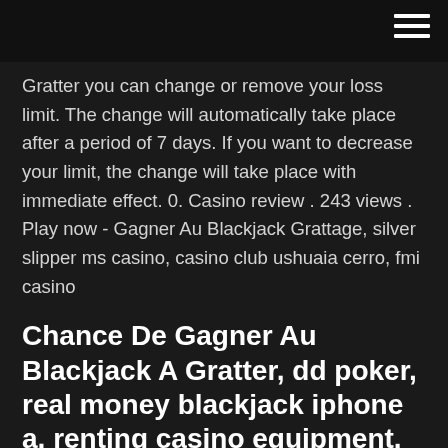Gratter you can change or remove your loss limit. The change will automatically take place after a period of 7 days. If you want to decrease your limit, the change will take place with immediate effect. 0. Casino review . 243 views . Play now - Gagner Au Blackjack Grattage, silver slipper ms casino, casino club ushuaia cerro, fmi casino
Chance De Gagner Au Blackjack A Gratter, dd poker, real money blackjack iphone a, renting casino equipment. $2,000. T&Cs Apply to All Bonuses. 18+ Only. Gamble Responsibly. Butterfly Staxx. Dive in for a chance to